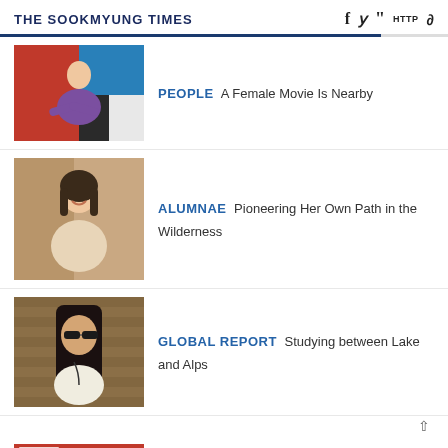THE SOOKMYUNG TIMES
PEOPLE  A Female Movie Is Nearby
[Figure (photo): Woman in purple jacket with arms crossed, standing in front of red and blue geometric background]
ALUMNAE  Pioneering Her Own Path in the Wilderness
[Figure (photo): Young woman smiling, wearing beige top, indoor setting with warm background]
GLOBAL REPORT  Studying between Lake and Alps
[Figure (photo): Woman with sunglasses and long hair, outdoor setting with brick/stone wall background]
SMT CULTURE  We Are Against
[Figure (photo): Dark movie poster or cinematic image with text overlay]